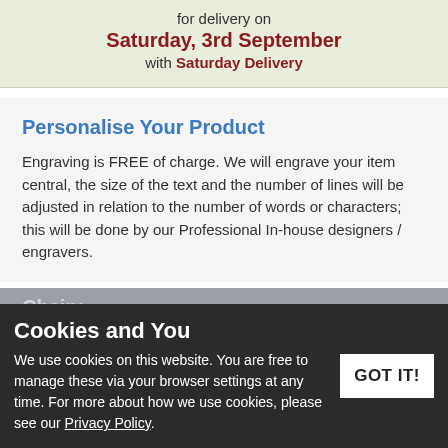for delivery on Saturday, 3rd September with Saturday Delivery
Personalise Your Product
Engraving is FREE of charge. We will engrave your item central, the size of the text and the number of lines will be adjusted in relation to the number of words or characters; this will be done by our Professional In-house designers / engravers.
Chain:
Cookies and You
We use cookies on this website. You are free to manage these via your browser settings at any time. For more about how we use cookies, please see our Privacy Policy.